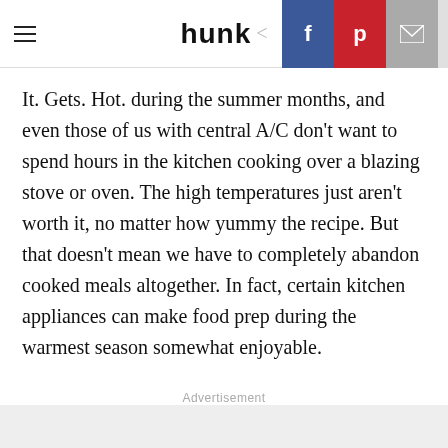hunk
It. Gets. Hot. during the summer months, and even those of us with central A/C don't want to spend hours in the kitchen cooking over a blazing stove or oven. The high temperatures just aren't worth it, no matter how yummy the recipe. But that doesn't mean we have to completely abandon cooked meals altogether. In fact, certain kitchen appliances can make food prep during the warmest season somewhat enjoyable.
Advertisement